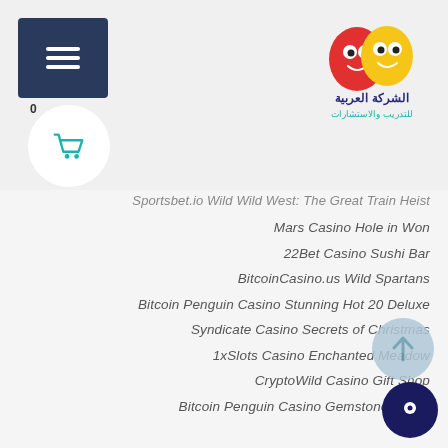[Figure (logo): Arabic company logo with red and yellow cartoon characters and Arabic text]
Sportsbet.io Wild Wild West: The Great Train Heist
Mars Casino Hole in Won
22Bet Casino Sushi Bar
BitcoinCasino.us Wild Spartans
Bitcoin Penguin Casino Stunning Hot 20 Deluxe
Syndicate Casino Secrets of Christmas
1xSlots Casino Enchanted Meadow
CryptoWild Casino Gift Shop
Bitcoin Penguin Casino Gemstone of Aztec